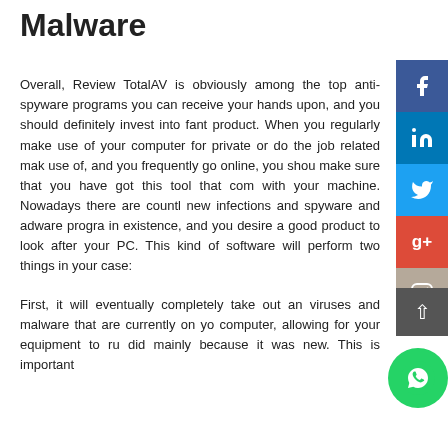Malware
Overall, Review TotalAV is obviously among the top anti-spyware programs you can receive your hands upon, and you should definitely invest into fantastic product. When you regularly make use of your computer for private or do the job related make use of, and you frequently go online, you should make sure that you have got this tool that comes with your machine. Nowadays there are countless new infections and spyware and adware programs in existence, and you desire a good product to look after your PC. This kind of software will perform two things in your case:
First, it will eventually completely take out any viruses and malware that are currently on your computer, allowing for your equipment to run as did mainly because it was new. This is important